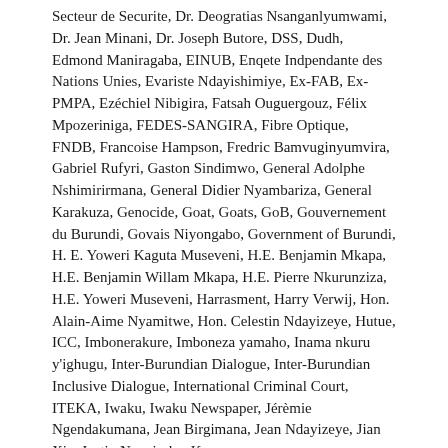Secteur de Securite, Dr. Deogratias Nsanganlyumwami, Dr. Jean Minani, Dr. Joseph Butore, DSS, Dudh, Edmond Maniragaba, EINUB, Enqete Indpendante des Nations Unies, Evariste Ndayishimiye, Ex-FAB, Ex-PMPA, Ezéchiel Nibigira, Fatsah Ouguergouz, Félix Mpozeriniga, FEDES-SANGIRA, Fibre Optique, FNDB, Francoise Hampson, Fredric Bamvuginyumvira, Gabriel Rufyri, Gaston Sindimwo, General Adolphe Nshimirirmana, General Didier Nyambariza, General Karakuza, Genocide, Goat, Goats, GoB, Gouvernement du Burundi, Govais Niyongabo, Government of Burundi, H. E. Yoweri Kaguta Museveni, H.E. Benjamin Mkapa, H.E. Benjamin Willam Mkapa, H.E. Pierre Nkurunziza, H.E. Yoweri Museveni, Harrasment, Harry Verwij, Hon. Alain-Aime Nyamitwe, Hon. Celestin Ndayizeye, Hutue, ICC, Imbonerakure, Imboneza yamaho, Inama nkuru y'ighugu, Inter-Burundian Dialogue, Inter-Burundian Inclusive Dialogue, International Criminal Court, ITEKA, Iwaku, Iwaku Newspaper, Jérèmie Ngendakumana, Jean Birgimana, Jean Ndayizeye, Jian Xie, Justin Nzoyisaba, Koen